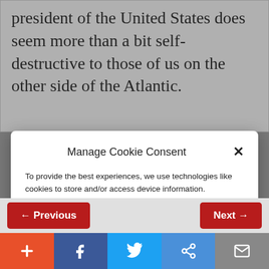president of the United States does seem more than a bit self-destructive to those of us on the other side of the Atlantic.
Manage Cookie Consent
To provide the best experiences, we use technologies like cookies to store and/or access device information. Consenting to these technologies will allow us to process data such as website statistics. Not consenting or withdrawing consent, may adversely affect certain features and functions.
Accept
Cookie Policy  Privacy Policy
← Previous
Next →
+ f 🐦 ∞ ✉